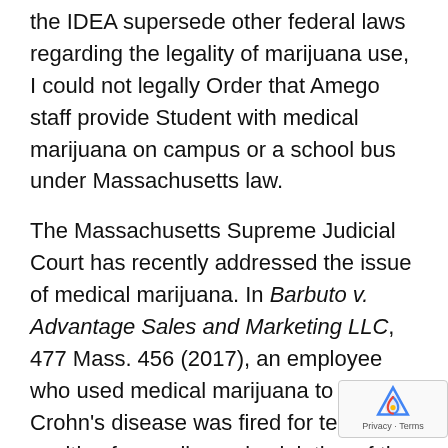the IDEA supersede other federal laws regarding the legality of marijuana use, I could not legally Order that Amego staff provide Student with medical marijuana on campus or a school bus under Massachusetts law.
The Massachusetts Supreme Judicial Court has recently addressed the issue of medical marijuana. In Barbuto v. Advantage Sales and Marketing LLC, 477 Mass. 456 (2017), an employee who used medical marijuana to treat Crohn's disease was fired for testing positive for marijuana in violation of the employer's drug policy. She brought an action against her former employer alleging handicap discrimination and unlawful termination. The Barbuta court found that under Massachusetts law…"the use and possession of medically prescribed marijuana by a qualifying patient is as lawful as the use and possession of any other prescribed medication." It noted that when the employee's physician determin… that medical marijuana was the most effective